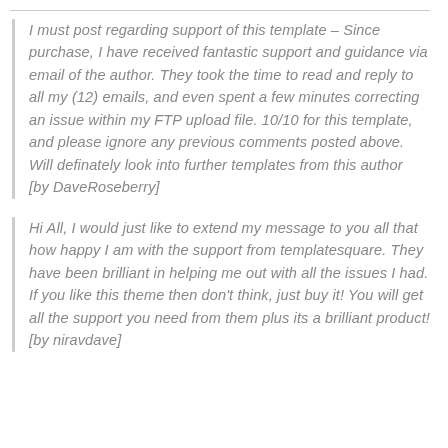I must post regarding support of this template – Since purchase, I have received fantastic support and guidance via email of the author. They took the time to read and reply to all my (12) emails, and even spent a few minutes correcting an issue within my FTP upload file. 10/10 for this template, and please ignore any previous comments posted above. Will definately look into further templates from this author
[by DaveRoseberry]
Hi All, I would just like to extend my message to you all that how happy I am with the support from templatesquare. They have been brilliant in helping me out with all the issues I had. If you like this theme then don't think, just buy it! You will get all the support you need from them plus its a brilliant product!
[by niravdave]